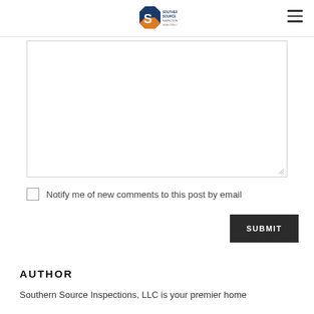Southern Source Inspections, LLC
[Figure (other): A textarea (comment input box) with a resize handle at bottom right]
Notify me of new comments to this post by email
SUBMIT
AUTHOR
Southern Source Inspections, LLC is your premier home